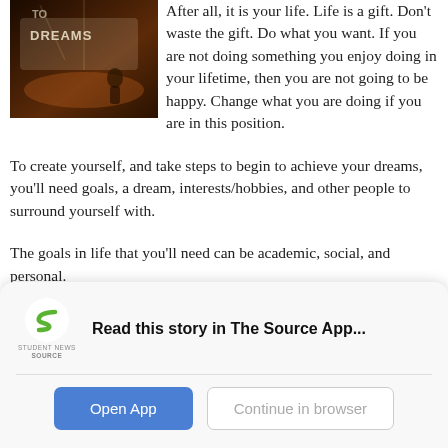[Figure (photo): Photo of a stage with the words 'DREAMS' lit up, a performer visible in the background]
After all, it is your life. Life is a gift. Don't waste the gift. Do what you want. If you are not doing something you enjoy doing in your lifetime, then you are not going to be happy. Change what you are doing if you are in this position.
To create yourself, and take steps to begin to achieve your dreams, you'll need goals, a dream, interests/hobbies, and other people to surround yourself with.
The goals in life that you'll need can be academic, social, and personal.
Read this story in The Source App...
Open App
Continue in browser